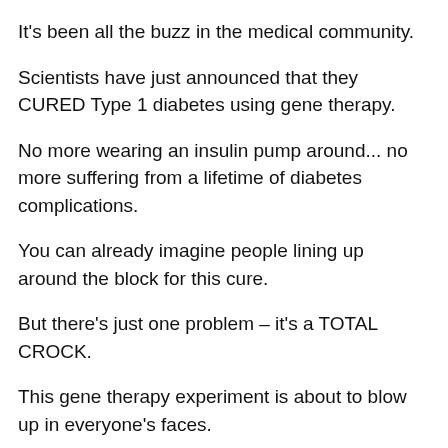It's been all the buzz in the medical community.
Scientists have just announced that they CURED Type 1 diabetes using gene therapy.
No more wearing an insulin pump around... no more suffering from a lifetime of diabetes complications.
You can already imagine people lining up around the block for this cure.
But there's just one problem – it's a TOTAL CROCK.
This gene therapy experiment is about to blow up in everyone's faces.